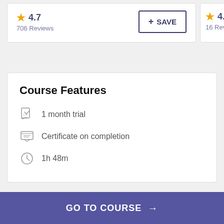★ 4.7
706 Reviews
+ SAVE
★ 4.9
16 Reviews
Course Features
1 month trial
Certificate on completion
1h 48m
GO TO COURSE →